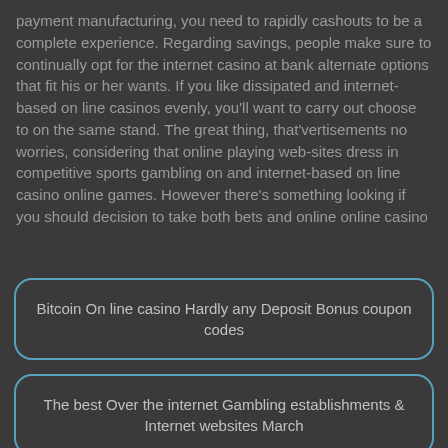payment manufacturing, you need to rapidly cashouts to be a complete experience. Regarding savings, people make sure to continually opt for the internet casino at bank alternate options that fit his or her wants. If you like dissipated and internet-based on line casinos evenly, you'll want to carry out choose to on the same stand. The great thing, that'vertisements no worries, considering that online playing web-sites dress in competitive sports gambling on and internet-based on line casino online games. However there's something looking if you should decision to take both bets and online online casino
Bitcoin On line casino Hardly any Deposit Bonus coupon codes
The best Over the internet Gambling establishments & Internet websites March